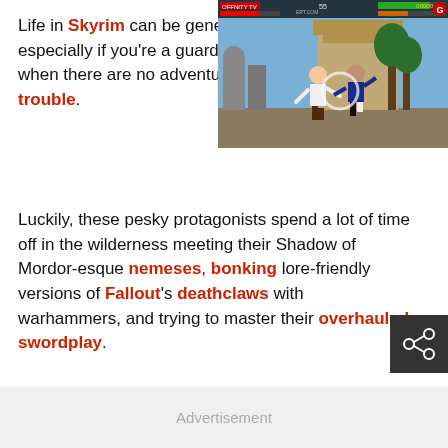Life in Skyrim can be gene… especially if you're a guard… when there are no adventu… trouble.
[Figure (screenshot): Screenshot of a fighting video game showing two characters fighting, with a HUD showing player names, health bars, and score. The background shows an outdoor Asian-themed arena.]
Luckily, these pesky protagonists spend a lot of time off in the wilderness meeting their Shadow of Mordor-esque nemeses, bonking lore-friendly versions of Fallout's deathclaws with warhammers, and trying to master their overhauled swordplay.
Advertisement